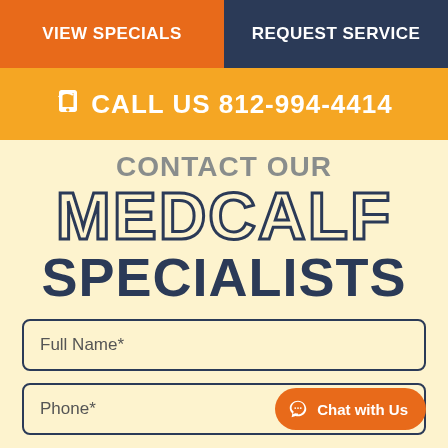VIEW SPECIALS | REQUEST SERVICE
CALL US 812-994-4414
CONTACT OUR MEDCALF SPECIALISTS
Full Name*
Phone*
Chat with Us